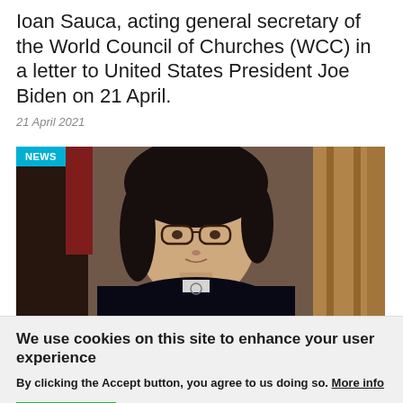Ioan Sauca, acting general secretary of the World Council of Churches (WCC) in a letter to United States President Joe Biden on 21 April.
21 April 2021
[Figure (photo): News photo of a woman with dark shoulder-length hair, glasses, wearing a dark clerical jacket with white collar, shown from mid-chest up against a blurred background. A teal 'NEWS' badge is in the top-left corner of the image.]
We use cookies on this site to enhance your user experience
By clicking the Accept button, you agree to us doing so. More info
ACCEPT
NO, THANKS